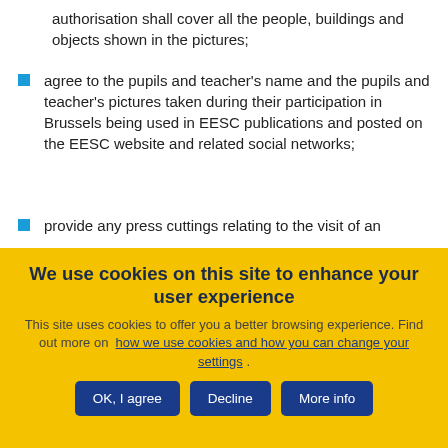authorisation shall cover all the people, buildings and objects shown in the pictures;
agree to the pupils and teacher's name and the pupils and teacher's pictures taken during their participation in Brussels being used in EESC publications and posted on the EESC website and related social networks;
provide any press cuttings relating to the visit of an
We use cookies on this site to enhance your user experience
This site uses cookies to offer you a better browsing experience. Find out more on how we use cookies and how you can change your settings .